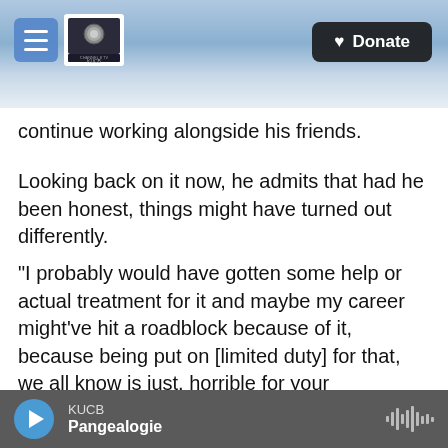[Figure (screenshot): Website header with navigation menu button, KUCB Channel 8 TV logo, snowy mountain landscape background, and a black Donate button with heart icon in top right.]
continue working alongside his friends.
Looking back on it now, he admits that had he been honest, things might have turned out differently.
"I probably would have gotten some help or actual treatment for it and maybe my career might've hit a roadblock because of it, because being put on [limited duty] for that, we all know is just, horrible for your [evaluations]," AK said. "But I might've, probably been put in a better place mentally from there on out, at least have tools for me to decompress rather than alcohol, and learn about
KUCB
Pangealogie